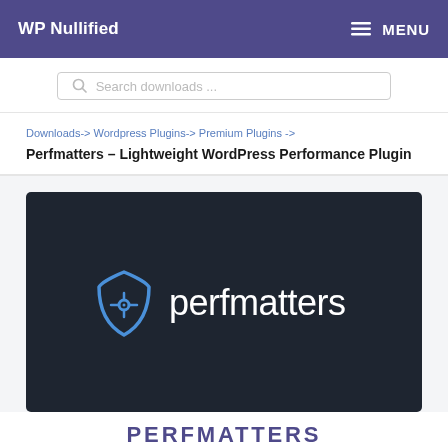WP Nullified   ≡ MENU
Search downloads ...
Downloads-> Wordpress Plugins-> Premium Plugins ->
Perfmatters – Lightweight WordPress Performance Plugin
[Figure (logo): Perfmatters logo on dark background — shield-shaped blue icon with circuit dot design and white text 'perfmatters']
PERFMATTERS